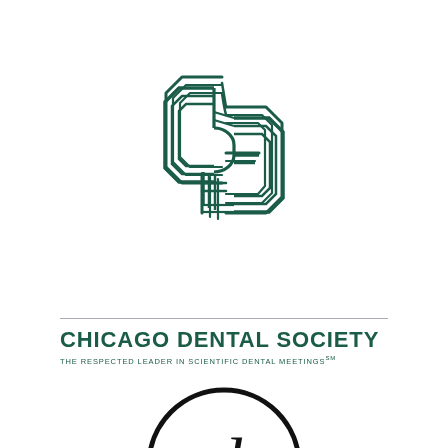[Figure (logo): Chicago Dental Society interlocking CDS monogram logo in dark green]
CHICAGO DENTAL SOCIETY
THE RESPECTED LEADER IN SCIENTIFIC DENTAL MEETINGS℠
[Figure (logo): edc circular script logo in black outline circle with cursive letters edc]